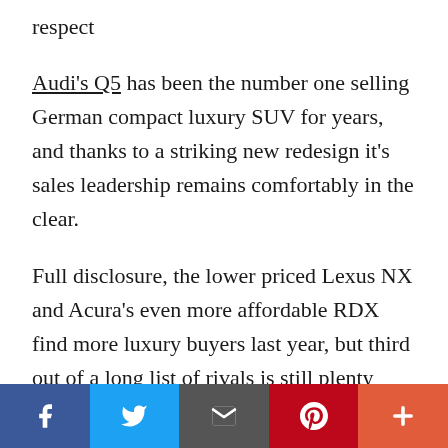respect
Audi's Q5 has been the number one selling German compact luxury SUV for years, and thanks to a striking new redesign it's sales leadership remains comfortably in the clear.
Full disclosure, the lower priced Lexus NX and Acura's even more affordable RDX find more luxury buyers last year, but third out of a long list of rivals is still plenty impressive. This said, over the first nine months of 2017, some months of which included this completely redesigned 2018 model, the Q5 has leapt into second place, while